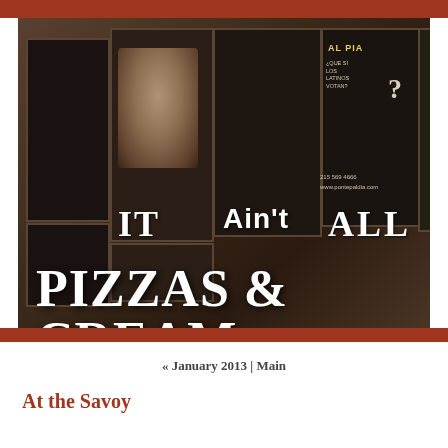[Figure (photo): Black and white sepia photograph of newspaper/magazine vending boxes on a city sidewalk. Overlaid text reads 'IT Ain't ALL PIZZAS & CREAM'. One box shows a portrait of a person, another shows 'AL DIA' with Spanish text '¿QUE SI LOS LATINOS VOTAN?' and a question mark, plus phone number 215 569 4666 and www.pontepaldia.com]
« January 2013 | Main
At the Savoy